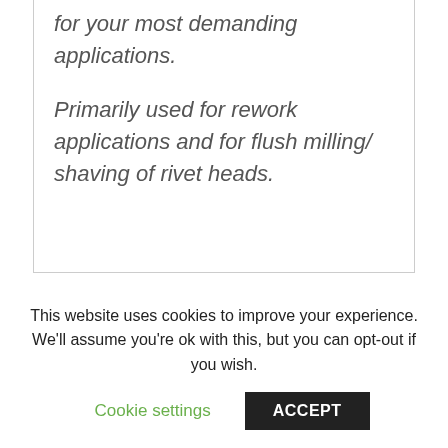for your most demanding applications.
Primarily used for rework applications and for flush milling/ shaving of rivet heads.
Share On Facebook
Tweet This Product
This website uses cookies to improve your experience. We'll assume you're ok with this, but you can opt-out if you wish.
Cookie settings
ACCEPT